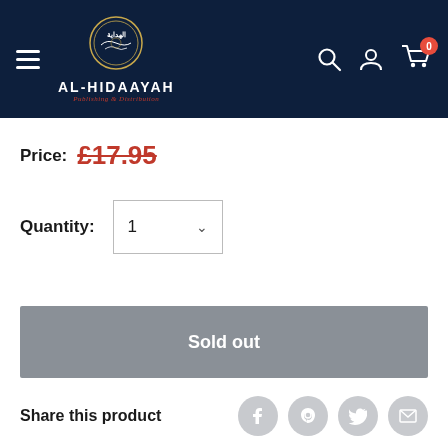AL-HIDAAYAH Publishing & Distribution
Price: £17.95
Quantity: 1
Sold out
Share this product
Payment & Security